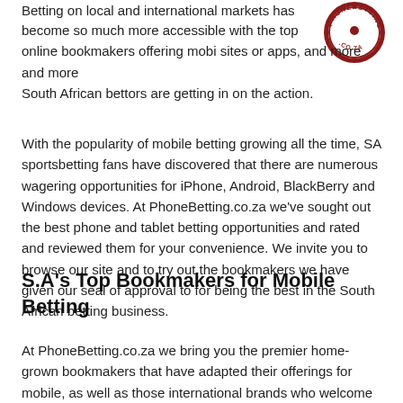[Figure (logo): PhoneBetting.co.za circular logo with red/maroon border and text]
Betting on local and international markets has become so much more accessible with the top online bookmakers offering mobi sites or apps, and more and more South African bettors are getting in on the action.
With the popularity of mobile betting growing all the time, SA sportsbetting fans have discovered that there are numerous wagering opportunities for iPhone, Android, BlackBerry and Windows devices. At PhoneBetting.co.za we've sought out the best phone and tablet betting opportunities and rated and reviewed them for your convenience. We invite you to browse our site and to try out the bookmakers we have given our seal of approval to for being the best in the South African betting business.
S.A's Top Bookmakers for Mobile Betting
At PhoneBetting.co.za we bring you the premier home-grown bookmakers that have adapted their offerings for mobile, as well as those international brands who welcome bettors from S.A. There are over 500 different bookmakers that accept customers from South